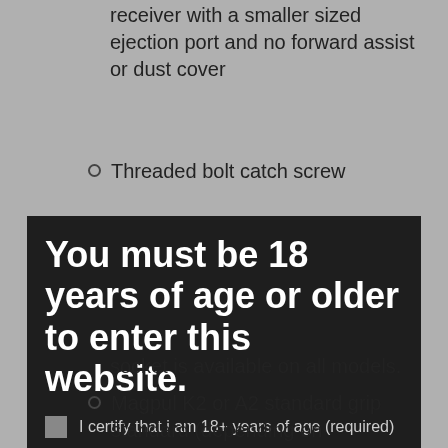receiver with a smaller sized ejection port and no forward assist or dust cover
Threaded bolt catch screw
[Figure (screenshot): Age verification modal overlay on website. Dark background with large white text: 'You must be 18 years of age or older to enter this website.' A checkbox with text 'I certify that i am 18+ years of age (required)', an orange SUBMIT button, and the Jacob Grey logo (stylized JG letters in orange and grey with text JACOB GREY).]
socket is available on all models.
Magpul K2 or A2 standard grip standard (depending on